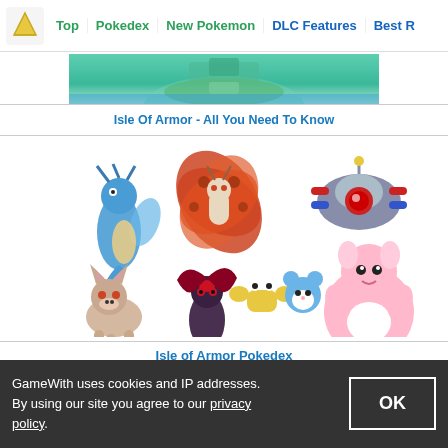Top | Pokedex | New Pokemon | DLC Features | Best R
[Figure (screenshot): Isle of Armor banner image with teal/green landscape]
Isle Of Armor - All You Need To Know
[Figure (illustration): Multiple Pokemon characters including Kingdra, Volcarona, Magnezone, Lycanroc, Zoroark, Crabrawler, Azumarill, Blissey for Isle of Armor Pokedex]
Isle of Armor Pokedex
| New Features & Trainers |
| --- |
| Restricted Sparring | Max Soup |
| Cram-o-matic | Apricorn |
| How To Beat Klara | How To Beat Avery |
GameWith uses cookies and IP addresses. By using our site you agree to our privacy policy.